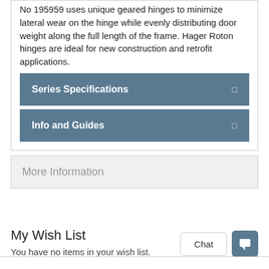No 195959 uses unique geared hinges to minimize lateral wear on the hinge while evenly distributing door weight along the full length of the frame. Hager Roton hinges are ideal for new construction and retrofit applications.
Series Specifications
Info and Guides
More Information
My Wish List
You have no items in your wish list.